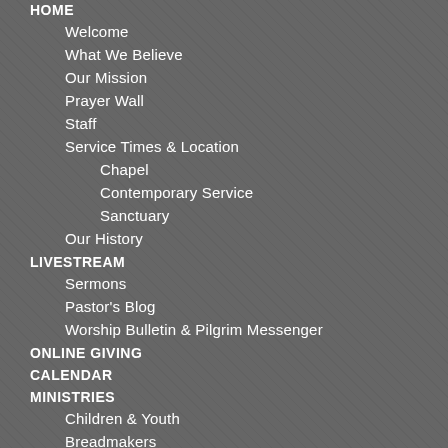HOME
Welcome
What We Believe
Our Mission
Prayer Wall
Staff
Service Times & Location
Chapel
Contemporary Service
Sanctuary
Our History
LIVESTREAM
Sermons
Pastor's Blog
Worship Bulletin & Pilgrim Messenger
ONLINE GIVING
CALENDAR
MINISTRIES
Children & Youth
Breadmakers